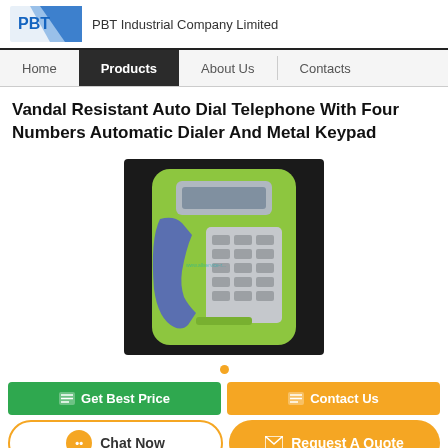PBT Industrial Company Limited
Vandal Resistant Auto Dial Telephone With Four Numbers Automatic Dialer And Metal Keypad
[Figure (photo): Green vandal-resistant auto dial telephone with metal keypad and blue handset, mounted on wall]
Get Best Price | Contact Us
Chat Now | Request A Quote